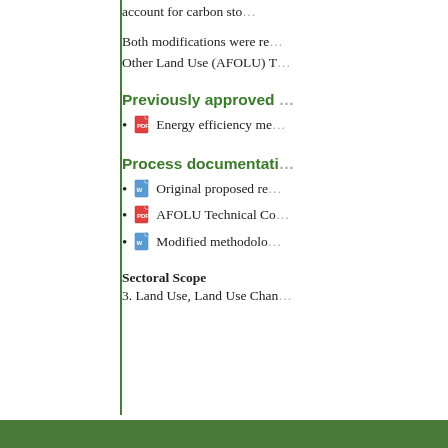account for carbon sto...
Both modifications were re...Other Land Use (AFOLU) T...
Previously approved ...
Energy efficiency me...
Process documentati...
Original proposed re...
AFOLU Technical Co...
Modified methodolo...
Sectoral Scope
3. Land Use, Land Use Chan...